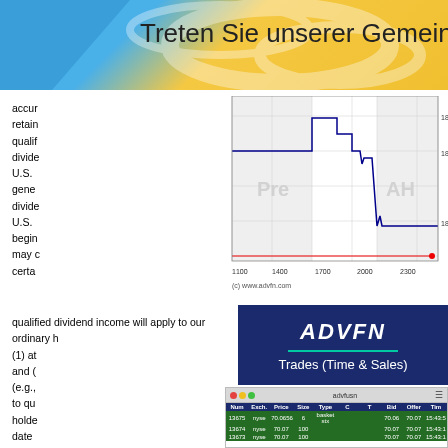Treten Sie unserer Gemeinsche
accur
retain
qualif
divide
U.S.
gene
divide
U.S.
begin
may c
certa
[Figure (continuous-plot): Stock price chart with Pre and AH zones, price range ~18.2-18.4, x-axis 1100-2300, red horizontal line near bottom, blue stepped line. (c) www.advfn.com]
qualified dividend income will apply to our ordinary h
(1) at
and (
(e.g.,
to qu
holde
date

A
as lo
stoc
gain
[Figure (screenshot): ADVFN logo panel with Trades (Time & Sales) heading on dark blue background]
[Figure (screenshot): ADVFN Trades table showing columns Num, Exch., Price, Size, Type, C, T, Bid, Offer, Tim with green rows of trade data for rows 13875, 13874, 13873, 13872]